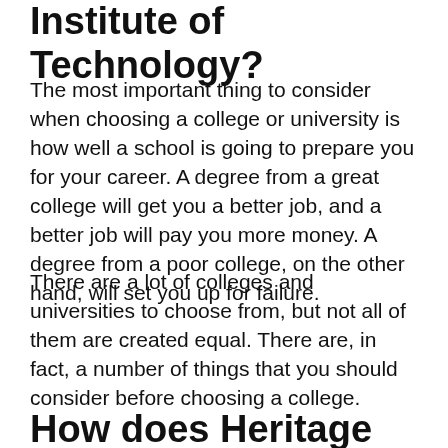Institute of Technology?
The most important thing to consider when choosing a college or university is how well a school is going to prepare you for your career. A degree from a great college will get you a better job, and a better job will pay you more money. A degree from a poor college, on the other hand, will set you up for failure.
There are a lot of colleges and universities to choose from, but not all of them are created equal. There are, in fact, a number of things that you should consider before choosing a college.
How does Heritage